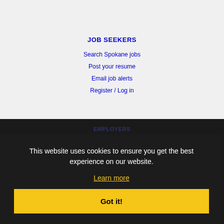JOB SEEKERS
Search Spokane jobs
Post your resume
Email job alerts
Register / Log in
EMPLOYERS
Post jobs
Search resumes
Email resume alerts
Advertise
IMMIGRATION SPECIALISTS
This website uses cookies to ensure you get the best experience on our website.
Learn more
Got it!